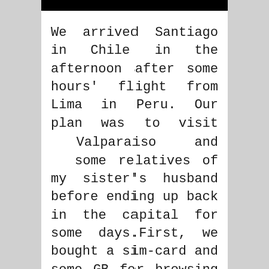[Figure (other): Black header bar at top of page]
We arrived Santiago in Chile in the afternoon after some hours' flight from Lima in Peru. Our plan was to visit Valparaiso and some relatives of my sister's husband before ending up back in the capital for some days.First, we bought a sim-card and some GB for browsing on the internet. Then we picked up our rental car and headed towards Valparaiso. Our GPS (Google Maps) showed us the way and we found both Valparaiso